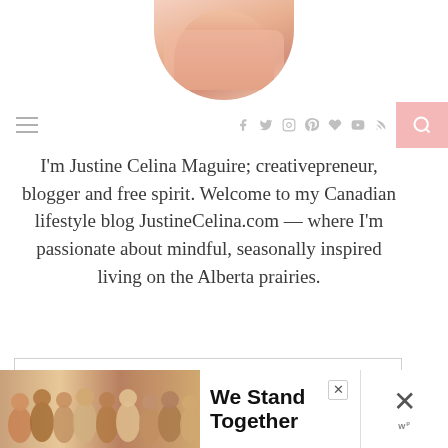[Figure (photo): Cropped circular profile photo showing a person in pink/peach clothing, top portion cut off at page edge]
Navigation bar with hamburger menu, social icons (Facebook, Twitter, Instagram, Pinterest, heart, YouTube, RSS), and pink search button
I'm Justine Celina Maguire; creativepreneur, blogger and free spirit. Welcome to my Canadian lifestyle blog JustineCelina.com — where I'm passionate about mindful, seasonally inspired living on the Alberta prairies.
Privacy & Cookies: This site uses cookies. By continuing to use this website, you agree to their use.
To find out more, including how to control cookies, see here: Privacy Policy
[Figure (advertisement): Ad banner showing group of people with arms around each other and text 'We Stand Together']